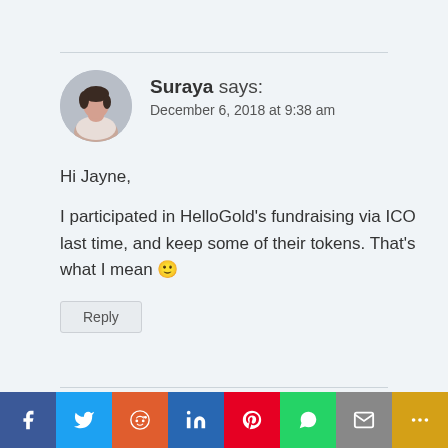[Figure (photo): Circular avatar photo of a woman (Suraya) with short dark hair, wearing a light-colored top, against a blurred background.]
Suraya says:
December 6, 2018 at 9:38 am
Hi Jayne,

I participated in HelloGold’s fundraising via ICO last time, and keep some of their tokens. That’s what I mean 🙂
Reply
[Figure (infographic): Social media sharing bar with icons for Facebook, Twitter, Reddit, LinkedIn, Pinterest, WhatsApp, Email, and More.]